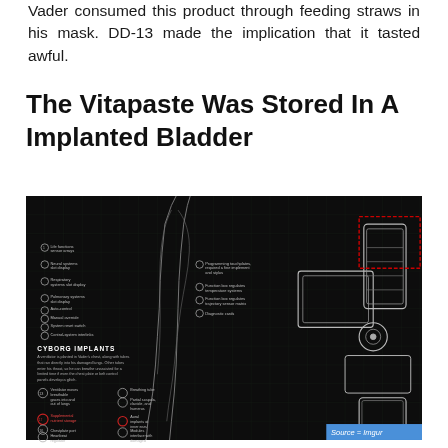Vader consumed this product through feeding straws in his mask. DD-13 made the implication that it tasted awful.
The Vitapaste Was Stored In A Implanted Bladder
[Figure (engineering-diagram): Dark technical schematic/blueprint diagram of Darth Vader's cyborg implants, showing detailed mechanical and biological components with labeled annotations. Includes a section labeled 'CYBORG IMPLANTS' describing a ventilator in Vader's chest with tubes connected to his damaged lungs. Various numbered components are labeled including life functions sensor arrays, neural systems, respiratory systems, pulmonary systems, auto-control, manual override, system reset switch, control-system interlinks, ventilator, breathing tube, partial scapula, supplemental nutrient storage (circled in red), chestplate port, heartbeat regulator, recycler, voice amplifier, and others. A red dotted rectangle highlights an area in the upper right. Source = Imgur badge in lower right corner.]